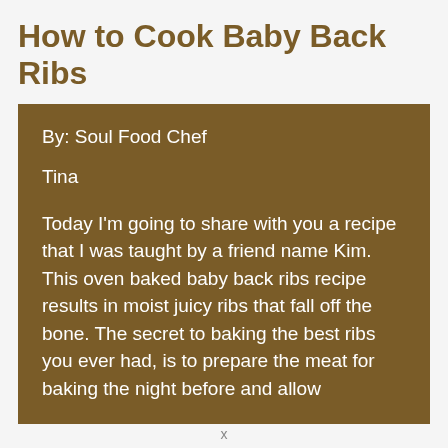How to Cook Baby Back Ribs
By: Soul Food Chef
Tina
Today I'm going to share with you a recipe that I was taught by a friend name Kim. This oven baked baby back ribs recipe results in moist juicy ribs that fall off the bone. The secret to baking the best ribs you ever had, is to prepare the meat for baking the night before and allow